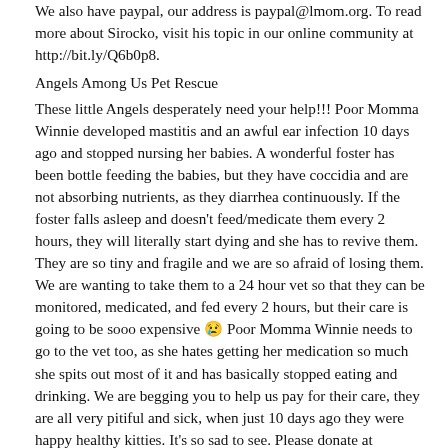We also have paypal, our address is paypal@lmom.org. To read more about Sirocko, visit his topic in our online community at http://bit.ly/Q6b0p8.
Angels Among Us Pet Rescue
These little Angels desperately need your help!!! Poor Momma Winnie developed mastitis and an awful ear infection 10 days ago and stopped nursing her babies. A wonderful foster has been bottle feeding the babies, but they have coccidia and are not absorbing nutrients, as they diarrhea continuously. If the foster falls asleep and doesn't feed/medicate them every 2 hours, they will literally start dying and she has to revive them. They are so tiny and fragile and we are so afraid of losing them. We are wanting to take them to a 24 hour vet so that they can be monitored, medicated, and fed every 2 hours, but their care is going to be sooo expensive 😢 Poor Momma Winnie needs to go to the vet too, as she hates getting her medication so much she spits out most of it and has basically stopped eating and drinking. We are begging you to help us pay for their care, they are all very pitiful and sick, when just 10 days ago they were happy healthy kitties. It's so sad to see. Please donate at www.angelsrescue.org with Winnie and Sick Babies as subject line. We desperately need your help! Thank you and God Bless! ♥ ~ P... Please Help Us